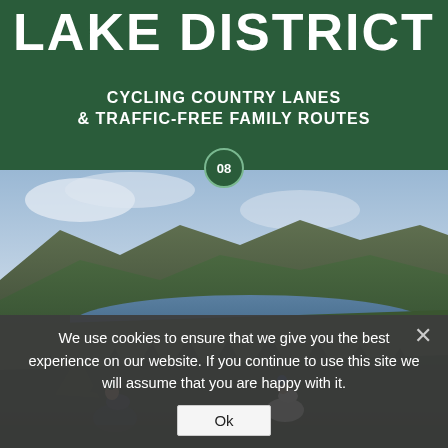LAKE DISTRICT
CYCLING COUNTRY LANES & TRAFFIC-FREE FAMILY ROUTES
08
[Figure (photo): Two cyclists riding mountain bikes on a forest trail above a large lake surrounded by hills and conifer trees, Lake District landscape]
We use cookies to ensure that we give you the best experience on our website. If you continue to use this site we will assume that you are happy with it.
Ok